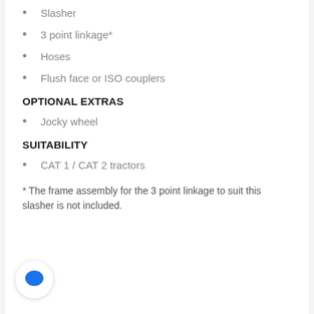Slasher
3 point linkage*
Hoses
Flush face or ISO couplers
OPTIONAL EXTRAS
Jocky wheel
SUITABILITY
CAT 1 / CAT 2 tractors
* The frame assembly for the 3 point linkage to suit this slasher is not included.
[Figure (illustration): Blue speech bubble chat icon button in a white circular container with shadow]